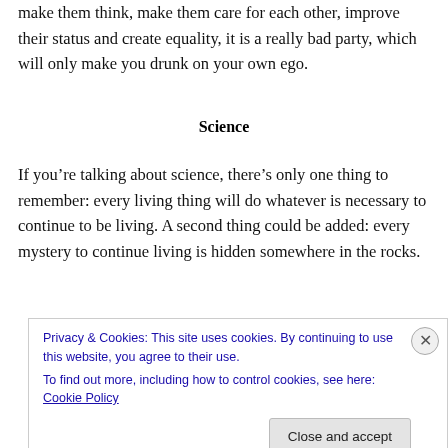make them think, make them care for each other, improve their status and create equality, it is a really bad party, which will only make you drunk on your own ego.
Science
If you’re talking about science, there’s only one thing to remember: every living thing will do whatever is necessary to continue to be living. A second thing could be added: every mystery to continue living is hidden somewhere in the rocks.
Privacy & Cookies: This site uses cookies. By continuing to use this website, you agree to their use.
To find out more, including how to control cookies, see here: Cookie Policy
Close and accept